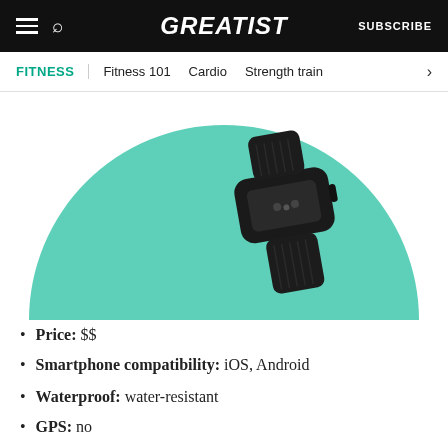GREATIST | SUBSCRIBE
FITNESS | Fitness 101 | Cardio | Strength train
[Figure (photo): A dark-colored fitness tracker/smartwatch photographed against a teal/mint green semicircular background.]
Price: $$
Smartphone compatibility: iOS, Android
Waterproof: water-resistant
GPS: no
Cellular data: no
Battery life: up to 7 days